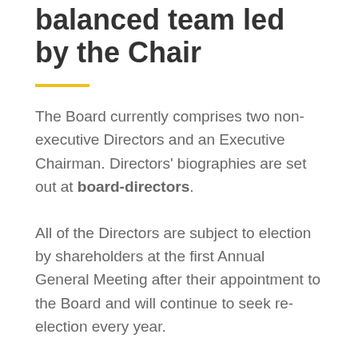balanced team led by the Chair
The Board currently comprises two non-executive Directors and an Executive Chairman. Directors' biographies are set out at board-directors.
All of the Directors are subject to election by shareholders at the first Annual General Meeting after their appointment to the Board and will continue to seek re-election every year.
The Board is responsible to the shareholders for the proper